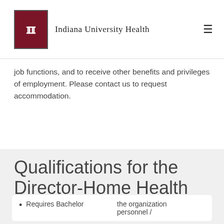Indiana University Health
job functions, and to receive other benefits and privileges of employment. Please contact us to request accommodation.
Qualifications for the Director-Home Health and Hospice Role
Requires Bachelor
the organization personnel /